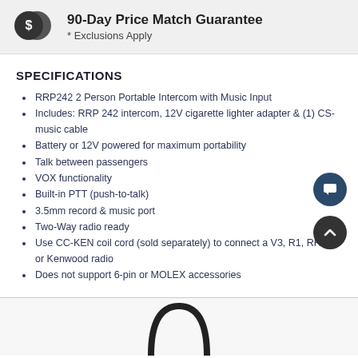[Figure (infographic): Two overlapping dollar sign coins icon and 90-Day Price Match Guarantee banner with Exclusions Apply note]
SPECIFICATIONS
RRP242 2 Person Portable Intercom with Music Input
Includes: RRP 242 intercom, 12V cigarette lighter adapter & (1) CS-music cable
Battery or 12V powered for maximum portability
Talk between passengers
VOX functionality
Built-in PTT (push-to-talk)
3.5mm record & music port
Two-Way radio ready
Use CC-KEN coil cord (sold separately) to connect a V3, R1, RH-5R or Kenwood radio
Does not support 6-pin or MOLEX accessories
[Figure (photo): Bottom portion of product photo showing curved black headset/intercom]